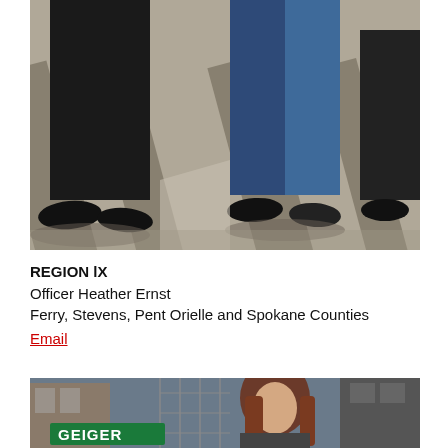[Figure (photo): Cropped photo showing the lower bodies and feet of several people standing on a paved surface with shadow stripes, wearing dark pants/jeans and dark shoes.]
REGION lX
Officer Heather Ernst
Ferry, Stevens, Pent Orielle and Spokane Counties
Email
[Figure (photo): Partial photo showing a woman with long reddish-brown hair standing near a chain-link fence and green street sign reading 'GEIGER', with buildings visible in the background.]